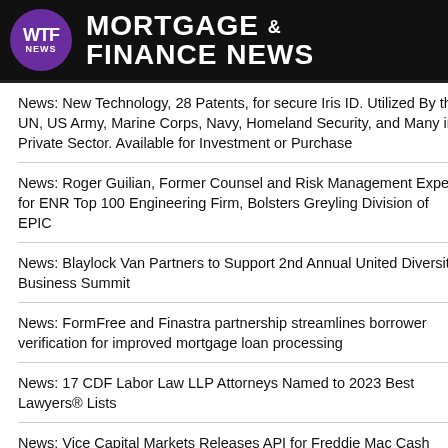MORTGAGE & FINANCE NEWS
News: New Technology, 28 Patents, for secure Iris ID. Utilized By the UN, US Army, Marine Corps, Navy, Homeland Security, and Many in Private Sector. Available for Investment or Purchase
News: Roger Guilian, Former Counsel and Risk Management Expert for ENR Top 100 Engineering Firm, Bolsters Greyling Division of EPIC
News: Blaylock Van Partners to Support 2nd Annual United Diversity Business Summit
News: FormFree and Finastra partnership streamlines borrower verification for improved mortgage loan processing
News: 17 CDF Labor Law LLP Attorneys Named to 2023 Best Lawyers® Lists
News: Vice Capital Markets Releases API for Freddie Mac Cash Purchase Statement
News: New Energy Risk Announces Milestone as Clients Raise $3B in Capital, Also Announce Senior Promotions